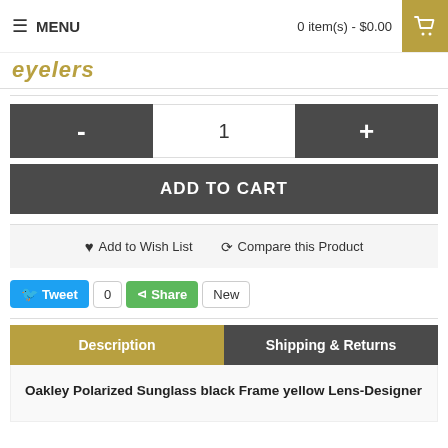MENU | 0 item(s) - $0.00
[Figure (logo): Store logo text in gold italic]
- 1 +
ADD TO CART
♥ Add to Wish List   ⟳ Compare this Product
Tweet 0 Share New
Description | Shipping & Returns
Oakley Polarized Sunglass black Frame yellow Lens-Designer